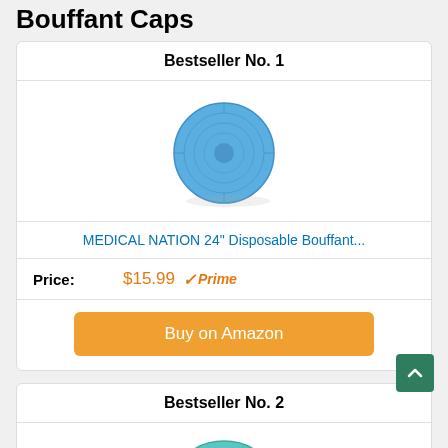Bouffant Caps
Bestseller No. 1
[Figure (photo): Blue disposable bouffant cap seen from above, circular shape]
MEDICAL NATION 24" Disposable Bouffant...
Price: $15.99 Prime
Buy on Amazon
Bestseller No. 2
[Figure (photo): Blue/teal disposable bouffant cap, partially visible at bottom of page]